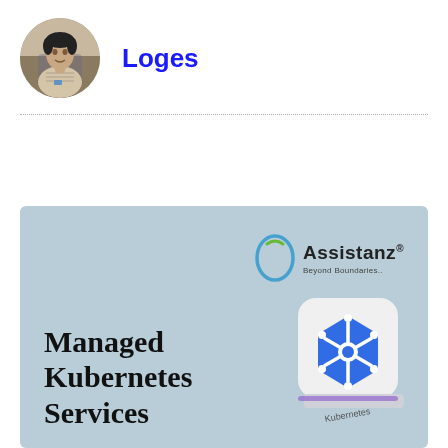[Figure (photo): Circular profile photo of a man wearing a striped shirt and ID badge, seated indoors]
Loges
[Figure (infographic): Light blue promotional banner for Assistanz (Beyond Boundaries) featuring the text 'Managed Kubernetes Services' in bold serif font alongside a 3D Kubernetes logo icon]